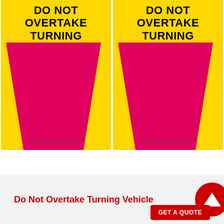[Figure (illustration): Two side-by-side yellow warning signs reading 'DO NOT OVERTAKE TURNING VEHICLE' with a large magenta/pink trapezoid shape below the text on each sign]
Do Not Overtake Turning Vehicle